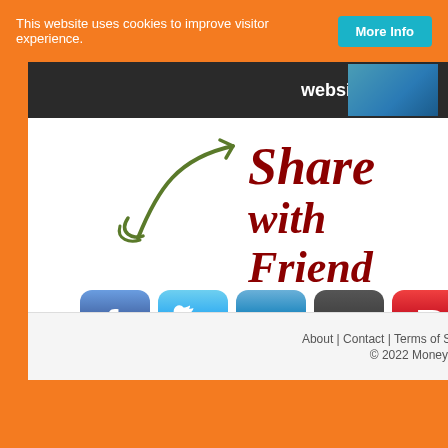This website uses cookies to improve visitor experience. More Info
[Figure (screenshot): Partial view of a website banner showing 'website visitors' text on dark background with a teal image on the left]
[Figure (illustration): Hand-drawn green arrow curving down and to the right, with 'Share with Friends' text in dark red italic bold font beside it, and social media share buttons below: Facebook (460), Twitter (372), LinkedIn (237), Google+ (229), Pinterest (342), StumbleUpon (278)]
...because they will love
About | Contact | Terms of Se... © 2022 MoneyM...